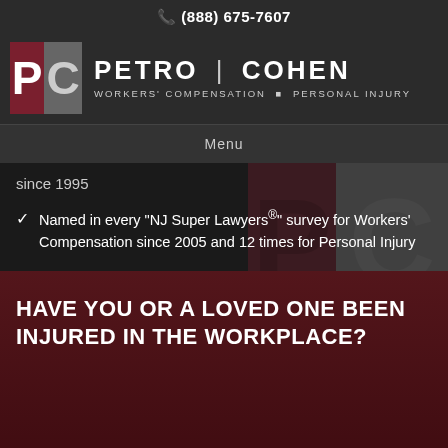☎ (888) 675-7607
[Figure (logo): Petro Cohen law firm logo with PC icon and text: PETRO | COHEN, Workers' Compensation • Personal Injury]
Menu
since 1995
Named in every "NJ Super Lawyers®" survey for Workers' Compensation since 2005 and 12 times for Personal Injury
HAVE YOU OR A LOVED ONE BEEN INJURED IN THE WORKPLACE?